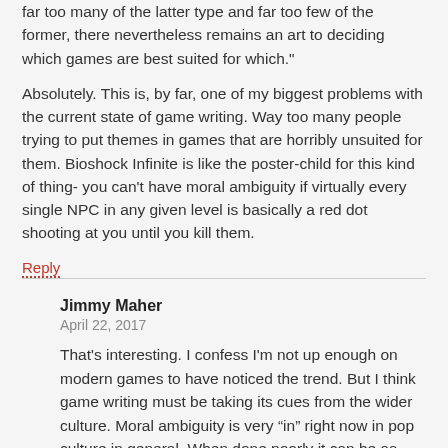far too many of the latter type and far too few of the former, there nevertheless remains an art to deciding which games are best suited for which."
Absolutely. This is, by far, one of my biggest problems with the current state of game writing. Way too many people trying to put themes in games that are horribly unsuited for them. Bioshock Infinite is like the poster-child for this kind of thing- you can't have moral ambiguity if virtually every single NPC in any given level is basically a red dot shooting at you until you kill them.
Reply
Jimmy Maher
April 22, 2017
That's interesting. I confess I'm not up enough on modern games to have noticed the trend. But I think game writing must be taking its cues from the wider culture. Moral ambiguity is very “in” right now in pop culture in general. When done poorly it can be as annoying as too much moral self-righteousness — and, whether done poorly or well, it's getting boring. My wife and I often say when we see the latest prestige dramas on television on how nice it would